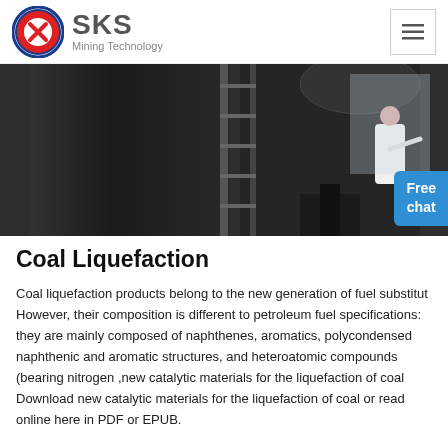SKS Mining Technology
[Figure (photo): Industrial coal liquefaction equipment — large dark metal tanks/vessels with structural supports, and a person in white lab coat visible at the right side. A 'Free chat' button overlay is present at bottom right.]
Coal Liquefaction
Coal liquefaction products belong to the new generation of fuel substitut However, their composition is different to petroleum fuel specifications: they are mainly composed of naphthenes, aromatics, polycondensed naphthenic and aromatic structures, and heteroatomic compounds (bearing nitrogen ,new catalytic materials for the liquefaction of coal Download new catalytic materials for the liquefaction of coal or read online here in PDF or EPUB.